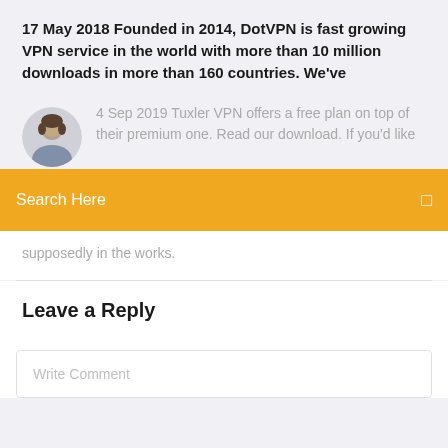17 May 2018 Founded in 2014, DotVPN is fast growing VPN service in the world with more than 10 million downloads in more than 160 countries. We've
4 Sep 2019 Tuxler VPN offers a free plan on top of their premium one. Read our download. If you'd like
Search Here
supposedly in the works.
Leave a Reply
Write Comment